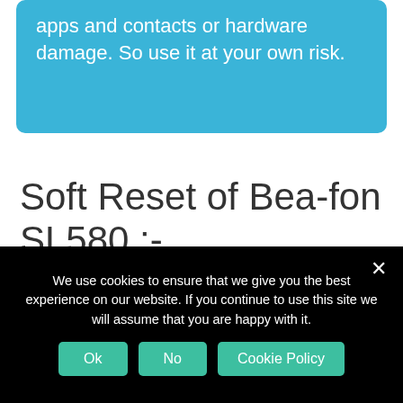apps and contacts or hardware damage. So use it at your own risk.
Soft Reset of Bea-fon SL580 :-
1. Press and hold Mobile Power button and wait until the phone turns off.
We use cookies to ensure that we give you the best experience on our website. If you continue to use this site we will assume that you are happy with it.